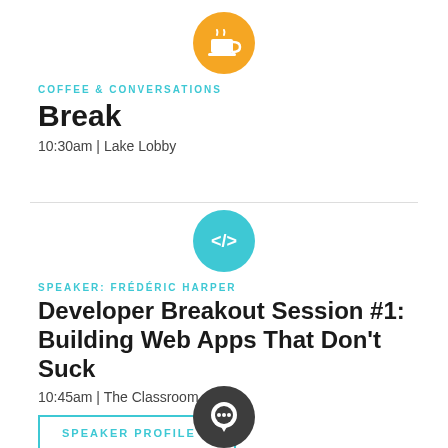[Figure (illustration): Orange circle icon with a white coffee cup symbol]
COFFEE & CONVERSATIONS
Break
10:30am | Lake Lobby
[Figure (illustration): Teal/cyan circle icon with a white code bracket </> symbol]
SPEAKER: FRÉDÉRIC HARPER
Developer Breakout Session #1: Building Web Apps That Don't Suck
10:45am | The Classroom
SPEAKER PROFILE ›
[Figure (illustration): Dark charcoal circle icon with a white speech bubble/chat symbol]